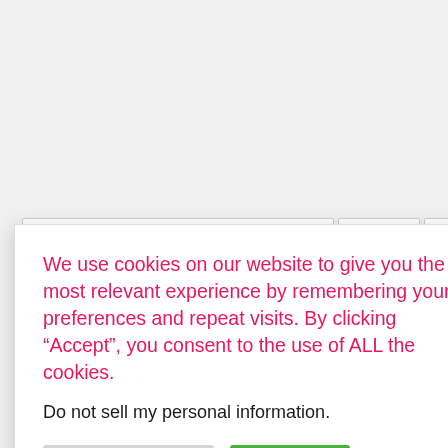[Figure (screenshot): Partial website screenshot visible behind cookie consent modal. Shows tab navigation bar, a box with the text 'ic' visible, and a horizontal separator line. Bottom shows a partial circular profile image.]
We use cookies on our website to give you the most relevant experience by remembering your preferences and repeat visits. By clicking “Accept”, you consent to the use of ALL the cookies.
Do not sell my personal information.